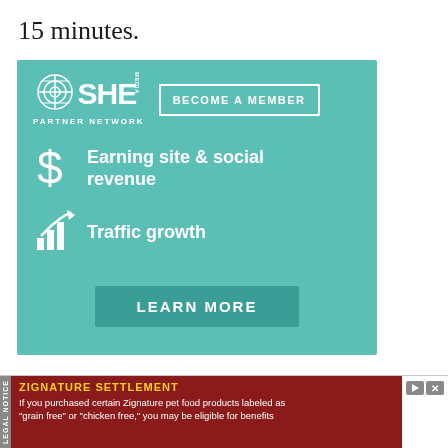15 minutes.
[Figure (other): SHE Media Partner Network advertisement with teal background. Shows logo with globe icon and 'SHE MEDIA PARTNER NETWORK' text, a 'BECOME A MEMBER' button, two feature items with icons: 'Earning site & social revenue' (dollar sign icon) and 'Traffic growth' (bar chart icon), and a 'LEARN MORE' button.]
In the meantime, prepare your mold by lining them with clean white
[Figure (other): Zignature Settlement legal notice banner ad with dark red background. Yellow bold title 'ZIGNATURE SETTLEMENT' with play and close icons. White text: 'If you purchased certain Zignature pet food products labeled as "grain free" or "chicken free," you may be eligible for benefits'. Left side has vertical 'LEGAL NOTICE' gray tab.]